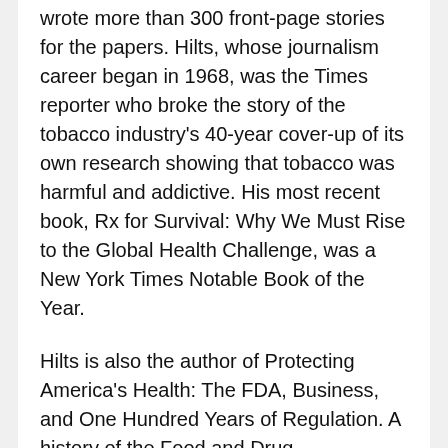wrote more than 300 front-page stories for the papers. Hilts, whose journalism career began in 1968, was the Times reporter who broke the story of the tobacco industry's 40-year cover-up of its own research showing that tobacco was harmful and addictive. His most recent book, Rx for Survival: Why We Must Rise to the Global Health Challenge, was a New York Times Notable Book of the Year.
Hilts is also the author of Protecting America's Health: The FDA, Business, and One Hundred Years of Regulation. A history of the Food and Drug Administration, this book tells the story of the fight over using science as the basis of public policy. It won the Los Angeles Times Book Prize for Science and Technology and was named a New York Times Notable Book of the Year.
His book Scientific Temperaments was a finalist for